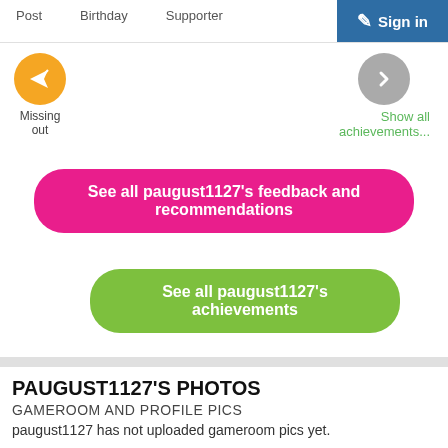Post   Birthday   Supporter   Sign in
[Figure (illustration): Orange circular badge with paper airplane icon labeled 'Missing out', and a gray circular chevron button with 'Show all achievements...' link in green]
See all paugust1127's feedback and recommendations
See all paugust1127's achievements
PAUGUST1127'S PHOTOS
GAMEROOM AND PROFILE PICS
paugust1127 has not uploaded gameroom pics yet.
PAUGUST1127'S TOP X
FAVORITE GAMES